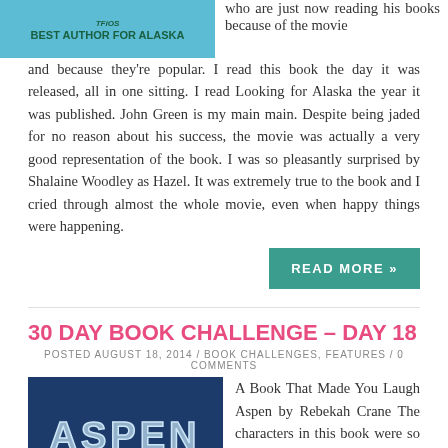[Figure (illustration): Book cover or award image with teal background and handwritten-style text reading 'BEST AUTHOR FOR ALASKA']
who are just now reading his books because of the movie and because they're popular. I read this book the day it was released, all in one sitting. I read Looking for Alaska the year it was published. John Green is my main main. Despite being jaded for no reason about his success, the movie was actually a very good representation of the book. I was so pleasantly surprised by Shalaine Woodley as Hazel. It was extremely true to the book and I cried through almost the whole movie, even when happy things were happening.
READ MORE »
30 DAY BOOK CHALLENGE – DAY 18
POSTED AUGUST 18, 2014 / BOOK CHALLENGES, FEATURES / 0 COMMENTS
[Figure (photo): Dark blue book cover for 'ASPEN' by Rebekah Crane with glowing neon-style text]
A Book That Made You Laugh Aspen by Rebekah Crane The characters in this book were so well-developed and hilarious. Some of the conversations they had with